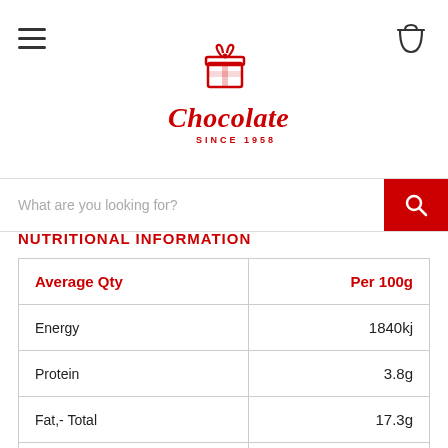Chocolate Box SINCE 1958
What are you looking for?
NUTRITIONAL INFORMATION
| Average Qty | Per 100g |
| --- | --- |
| Energy | 1840kj |
| Protein | 3.8g |
| Fat,- Total | 17.3g |
| - Saturated | 11.1g |